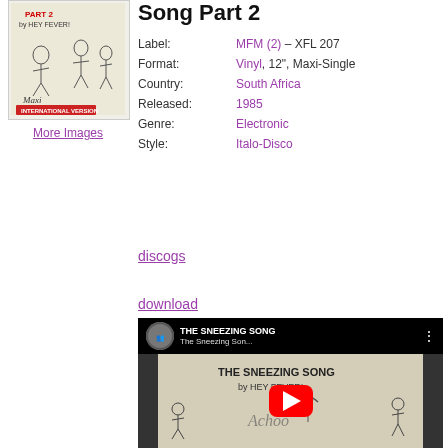[Figure (illustration): Album cover sketch showing cartoon figures with text 'PART 2 by HEY FEVER!' and a red label reading 'Maxi INTERNATIONAL VERSION']
More Images
Song Part 2
| Label: | MFM (2) – XFL 207 |
| Format: | Vinyl, 12", Maxi-Single |
| Country: | South Africa |
| Released: | 1985 |
| Genre: | Electronic |
| Style: | Italo-Disco |
discogs
download
[Figure (screenshot): YouTube video thumbnail showing 'THE SNEEZING SONG by HEY FEVER!' cartoon artwork with a red YouTube play button overlay and a video info bar at top]